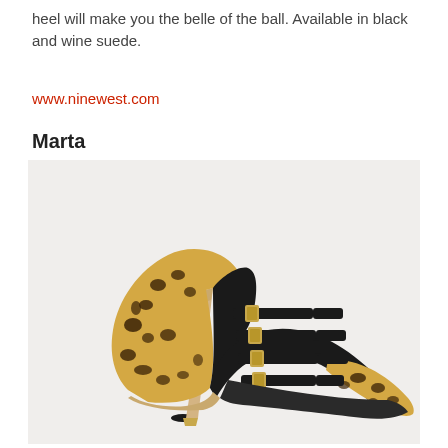heel will make you the belle of the ball. Available in black and wine suede.
www.ninewest.com
Marta
[Figure (photo): A leopard-print high-heel stiletto pump (Marta) with multiple black leather straps with gold buckles across the vamp, pointed toe, and a metallic gold stiletto heel.]